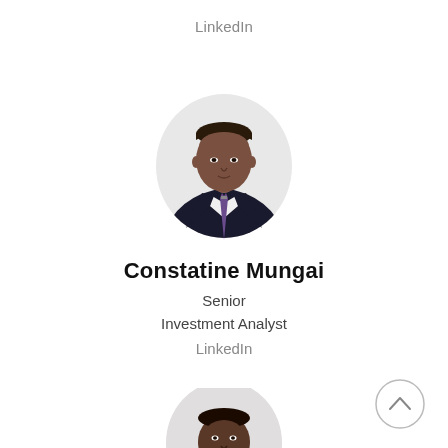LinkedIn
[Figure (photo): Professional headshot of Constatine Mungai, a man in a dark suit with a patterned tie, circular cropped portrait photo]
Constatine Mungai
Senior Investment Analyst
LinkedIn
[Figure (photo): Partial professional headshot of a man with beard in a dark suit, circular cropped portrait photo, partially cut off at bottom of page]
[Figure (other): Back to top button - circle with upward chevron arrow]